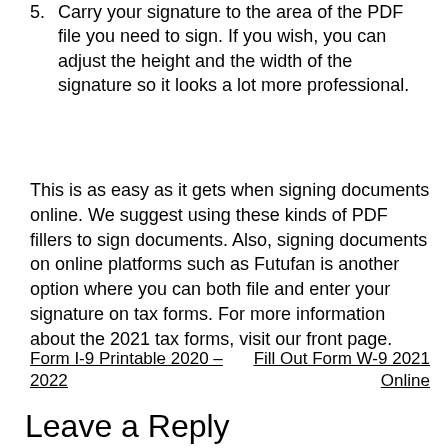5. Carry your signature to the area of the PDF file you need to sign. If you wish, you can adjust the height and the width of the signature so it looks a lot more professional.
This is as easy as it gets when signing documents online. We suggest using these kinds of PDF fillers to sign documents. Also, signing documents on online platforms such as Futufan is another option where you can both file and enter your signature on tax forms. For more information about the 2021 tax forms, visit our front page.
Form I-9 Printable 2020 – 2022
Fill Out Form W-9 2021 Online
Leave a Reply